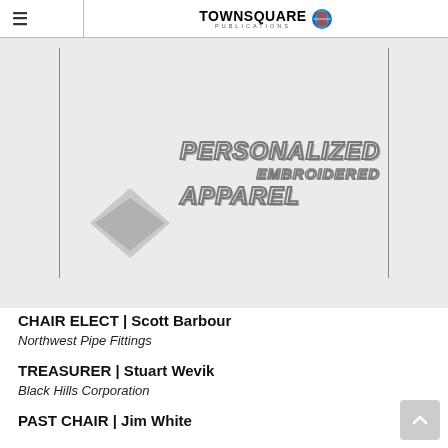TOWNSQUARE PUBLICATIONS
[Figure (illustration): Advertisement image showing personalized embroidered apparel text with a diamond/chevron logo shape on a gray background, bordered by vertical lines]
CHAIR ELECT | Scott Barbour
Northwest Pipe Fittings
TREASURER | Stuart Wevik
Black Hills Corporation
PAST CHAIR | Jim White